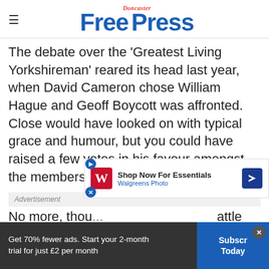Doncaster Free Press
The debate over the 'Greatest Living Yorkshireman' reared its head last year, when David Cameron chose William Hague and Geoff Boycott was affronted. Close would have looked on with typical grace and humour, but you could have raised a few votes in his favour amongst the members at Headingley.
Advertisement
No more, though ... battle with cancer, passed away earlier today, at the
Get 70% fewer ads. Start your 2-month trial for just £2 per month
Subscribe Today